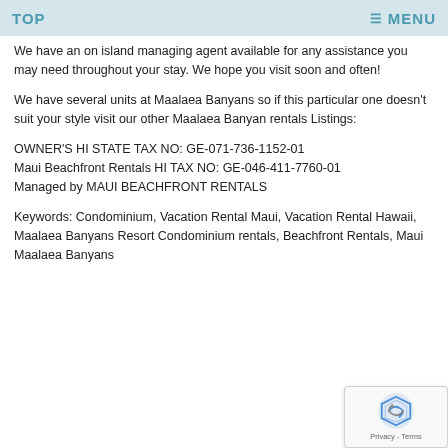TOP   ≡ MENU
We have an on island managing agent available for any assistance you may need throughout your stay. We hope you visit soon and often!
We have several units at Maalaea Banyans so if this particular one doesn't suit your style visit our other Maalaea Banyan rentals Listings:
OWNER'S HI STATE TAX NO: GE-071-736-1152-01
Maui Beachfront Rentals HI TAX NO: GE-046-411-7760-01
Managed by MAUI BEACHFRONT RENTALS
Keywords: Condominium, Vacation Rental Maui, Vacation Rental Hawaii, Maalaea Banyans Resort Condominium rentals, Beachfront Rentals, Maui Maalaea Banyans